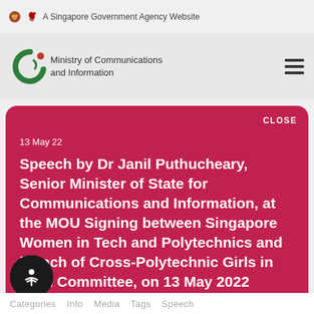A Singapore Government Agency Website
[Figure (logo): Ministry of Communications and Information logo with green circular icon]
CLOSE
13 May 22
Speech by Dr Janil Puthucheary, Senior Minister of State for Communications and Information, at the MOU Signing between Singapore Women in Tech and Polytechnics and launch of Cross-Polytechnic Girls in Tech Committee, on 13 May 2022
Listen